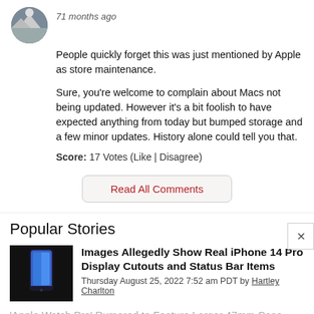71 months ago
People quickly forget this was just mentioned by Apple as store maintenance.

Sure, you're welcome to complain about Macs not being updated. However it's a bit foolish to have expected anything from today but bumped storage and a few minor updates. History alone could tell you that.
Score: 17 Votes (Like | Disagree)
Read All Comments
Popular Stories
Images Allegedly Show Real iPhone 14 Pro Display Cutouts and Status Bar Items
Thursday August 25, 2022 7:52 am PDT by Hartley Charlton
'Apple Watch Pro' Rumored to Feature Larger 47mm Case Size With Flat Display